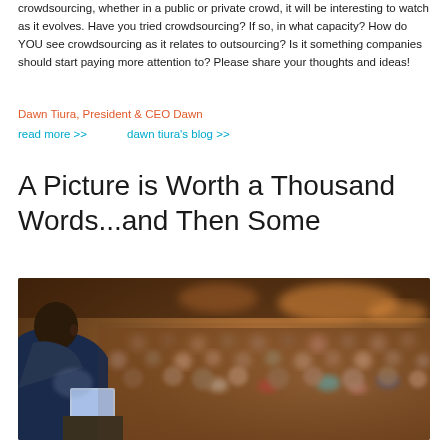crowdsourcing, whether in a public or private crowd, it will be interesting to watch as it evolves. Have you tried crowdsourcing? If so, in what capacity? How do YOU see crowdsourcing as it relates to outsourcing? Is it something companies should start paying more attention to? Please share your thoughts and ideas!
Dawn Tiura, President & CEO Dawn
read more >>    dawn tiura's blog >>
A Picture is Worth a Thousand Words...and Then Some
[Figure (photo): A speaker seen from behind facing a large blurred audience in an auditorium or conference hall. The speaker is wearing a dark suit jacket and there is a laptop on a podium. The audience is seated in rows with warm amber/brown lighting.]